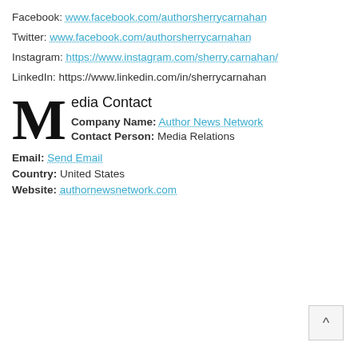Facebook: www.facebook.com/authorsherrycarnahan
Twitter: www.facebook.com/authorsherrycarnahan
Instagram: https://www.instagram.com/sherry.carnahan/
LinkedIn: https://www.linkedin.com/in/sherrycarnahan
Media Contact
Company Name: Author News Network
Contact Person: Media Relations
Email: Send Email
Country: United States
Website: authornewsnetwork.com